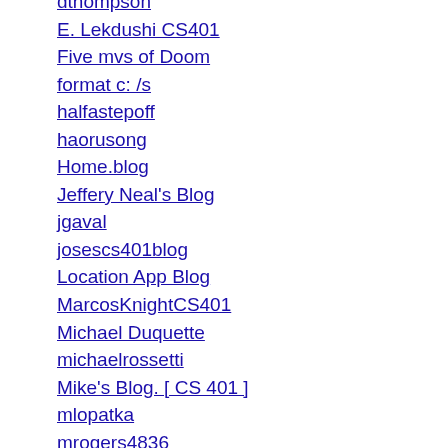dthompson
E. Lekdushi CS401
Five mvs of Doom
format c: /s
halfastepoff
haorusong
Home.blog
Jeffery Neal's Blog
jgaval
josescs401blog
Location App Blog
MarcosKnightCS401
Michael Duquette
michaelrossetti
Mike's Blog. [ CS 401 ]
mlopatka
mrogers4836
nathandoe